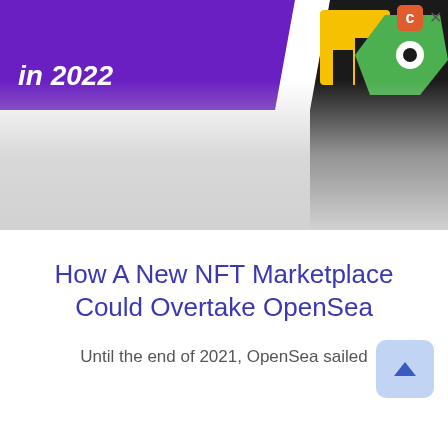[Figure (photo): Partial hero image showing NFT marketplace graphic with purple background, text 'in 2022', and colorful NFT icons including yellow and green shapes on dark background. Lower portion fades to gray gradient.]
How A New NFT Marketplace Could Overtake OpenSea
Until the end of 2021, OpenSea sailed